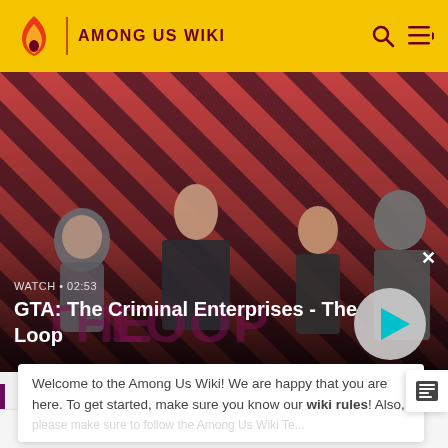AMONG US WIKI
[Figure (screenshot): GTA: The Criminal Enterprises - The Loop video banner with characters on red diagonal striped background, play button, close button, and watch duration 02:53]
Welcome to the Among Us Wiki! We are happy that you are here. To get started, make sure you know our wiki rules! Also,
READ MORE